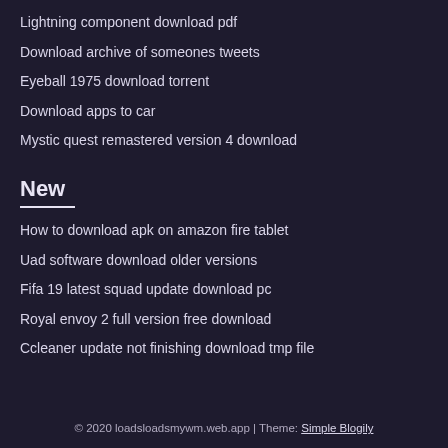Lightning component download pdf
Download archive of someones tweets
Eyeball 1975 download torrent
Download apps to car
Mystic quest remastered version 4 download
New
How to download apk on amazon fire tablet
Uad software download older versions
Fifa 19 latest squad update download pc
Royal envoy 2 full version free download
Ccleaner update not finishing download tmp file
© 2020 loadsloadsmywm.web.app | Theme: Simple Blogily